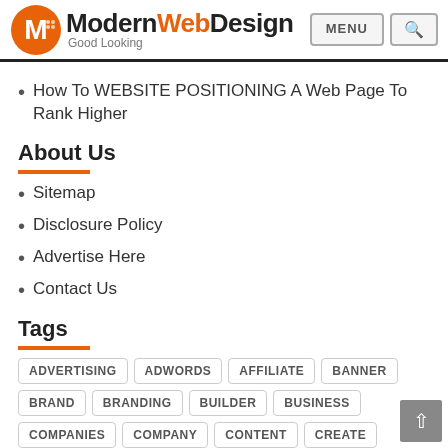ModernWebDesign — Good Looking
How To WEBSITE POSITIONING A Web Page To Rank Higher
About Us
Sitemap
Disclosure Policy
Advertise Here
Contact Us
Tags
ADVERTISING  ADWORDS  AFFILIATE  BANNER  BRAND  BRANDING  BUILDER  BUSINESS  COMPANIES  COMPANY  CONTENT  CREATE